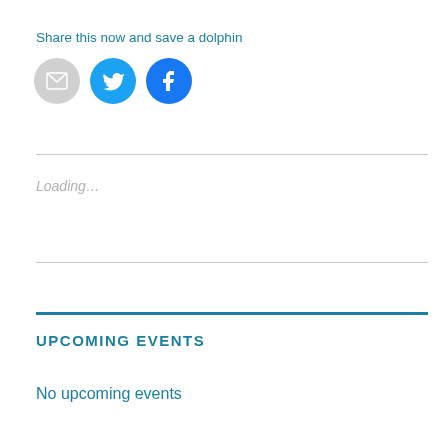Share this now and save a dolphin
[Figure (illustration): Three social share icon buttons: email (grey circle with envelope icon), Twitter (blue circle with bird icon), Facebook (blue circle with f icon)]
Loading…
UPCOMING EVENTS
No upcoming events